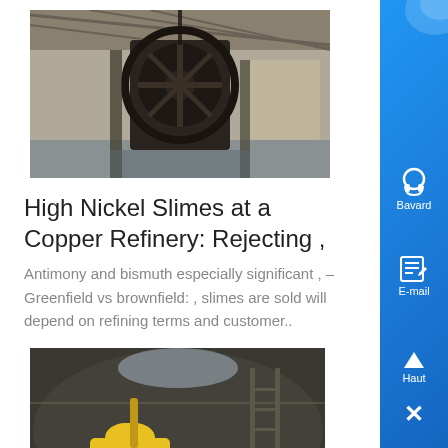[Figure (photo): Industrial machinery inside a warehouse/factory building, showing a large dark metal structure/wheel]
High Nickel Slimes at a Copper Refinery: Rejecting ,
Antimony and bismuth especially significant , –Greenfield vs brownfield: , slimes are sold will depend on refining terms and customer..
[Figure (photo): Person in yellow clothing inspecting what appears to be a water tank or cistern interior]
Drinking Water Quality Report